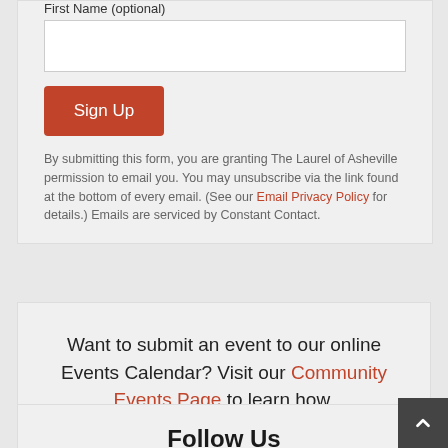First Name (optional)
Sign Up
By submitting this form, you are granting The Laurel of Asheville permission to email you. You may unsubscribe via the link found at the bottom of every email. (See our Email Privacy Policy for details.) Emails are serviced by Constant Contact.
Want to submit an event to our online Events Calendar? Visit our Community Events Page to learn how.
Follow Us